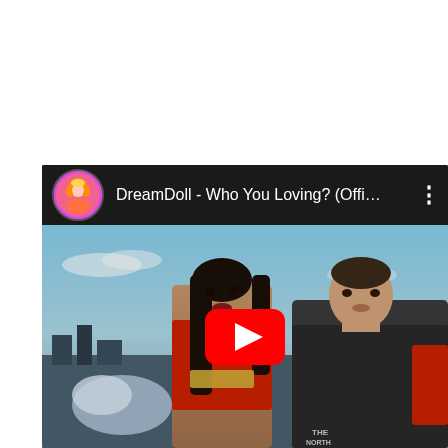[Figure (screenshot): YouTube video embed showing DreamDoll - Who You Loving? (Offi... with channel avatar, title bar in dark/black, and video thumbnail showing a woman in red and a man in a North Face jacket outdoors with a skyline background. A red YouTube play button is centered on the video thumbnail.]